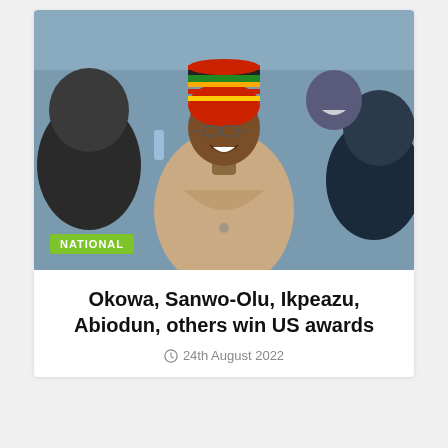[Figure (photo): A smiling man wearing glasses and a colorful striped headwrap (cap) in beige traditional attire, surrounded by other people at an event]
NATIONAL
Okowa, Sanwo-Olu, Ikpeazu, Abiodun, others win US awards
24th August 2022